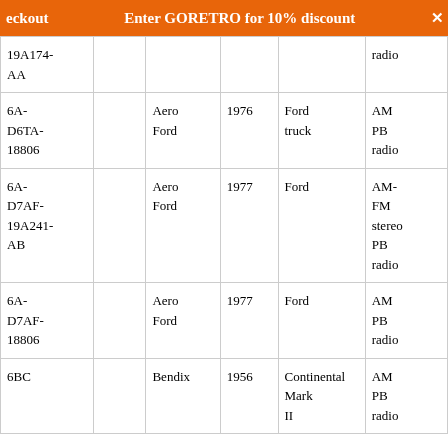eckout   Enter GORETRO for 10% discount ×
| Part Number |  | Brand | Year | Vehicle | Type |
| --- | --- | --- | --- | --- | --- |
| 19A174-AA |  |  |  |  | radio |
| 6A-D6TA-18806 |  | Aero Ford | 1976 | Ford truck | AM PB radio |
| 6A-D7AF-19A241-AB |  | Aero Ford | 1977 | Ford | AM-FM stereo PB radio |
| 6A-D7AF-18806 |  | Aero Ford | 1977 | Ford | AM PB radio |
| 6BC |  | Bendix | 1956 | Continental Mark II | AM PB radio |